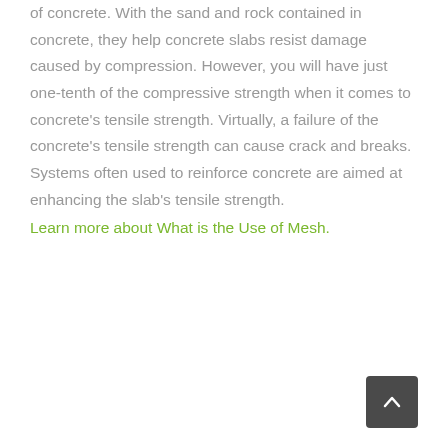of concrete. With the sand and rock contained in concrete, they help concrete slabs resist damage caused by compression. However, you will have just one-tenth of the compressive strength when it comes to concrete's tensile strength. Virtually, a failure of the concrete's tensile strength can cause crack and breaks. Systems often used to reinforce concrete are aimed at enhancing the slab's tensile strength. Learn more about What is the Use of Mesh.